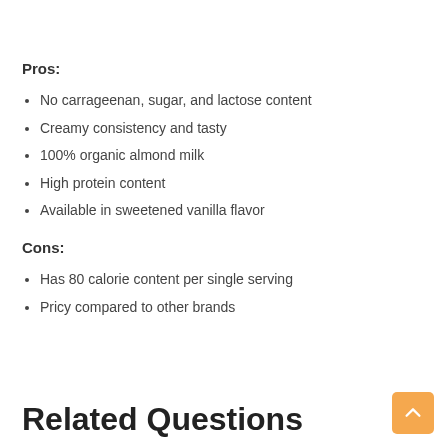Pros:
No carrageenan, sugar, and lactose content
Creamy consistency and tasty
100% organic almond milk
High protein content
Available in sweetened vanilla flavor
Cons:
Has 80 calorie content per single serving
Pricy compared to other brands
Related Questions